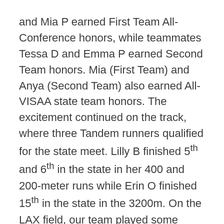and Mia P earned First Team All-Conference honors, while teammates Tessa D and Emma P earned Second Team honors. Mia (First Team) and Anya (Second Team) also earned All-VISAA state team honors. The excitement continued on the track, where three Tandem runners qualified for the state meet. Lilly B finished 5th and 6th in the state in her 400 and 200-meter runs while Erin O finished 15th in the state in the 3200m. On the LAX field, our team played some amazing matchups as Jacob C received First Team honors and teammates Kieran N-W and Dylan P received Second Team honors.
Tandem varsity athletes and their great seasons were celebrated in an end-of-year gathering organized by Athletic Director Sarana Hyatt. All-Conference and All-State honors were handed out, as well as team conference championship banners that will hang in the gym. PE teacher and volleyball coach Avin Fields was